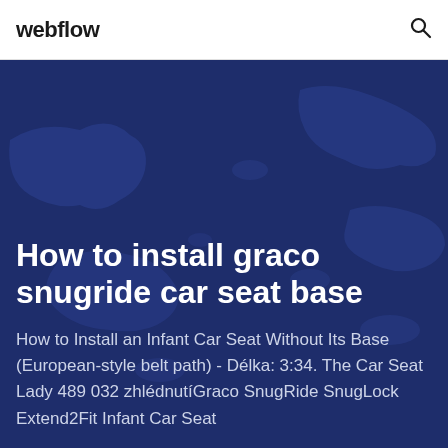webflow
How to install graco snugride car seat base
How to Install an Infant Car Seat Without Its Base (European-style belt path) - Délka: 3:34. The Car Seat Lady 489 032 zhlédnutíGraco SnugRide SnugLock Extend2Fit Infant Car Seat